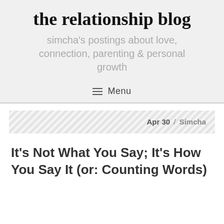the relationship blog
simcha's postings about love, connection, parenting & personal growth
≡ Menu
Apr 30 / Simcha
It's Not What You Say; It's How You Say It (or: Counting Words)